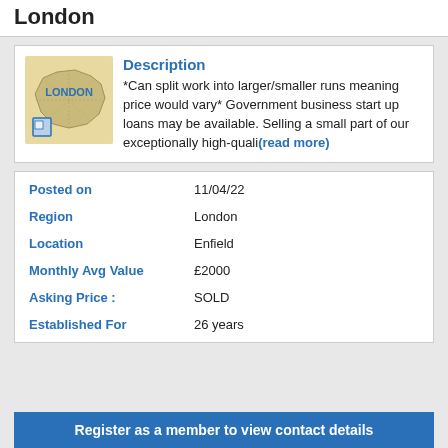London
[Figure (map): Map of London region]
Description
*Can split work into larger/smaller runs meaning price would vary* Government business start up loans may be available. Selling a small part of our exceptionally high-quali(read more)
| Field | Value |
| --- | --- |
| Posted on | 11/04/22 |
| Region | London |
| Location | Enfield |
| Monthly Avg Value | £2000 |
| Asking Price : | SOLD |
| Established For | 26 years |
Register as a member to view contact details